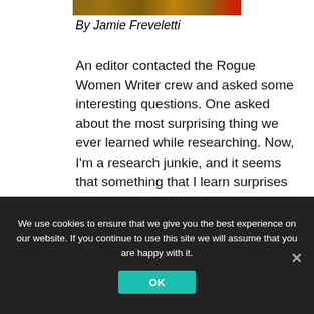[Figure (photo): Partial decorative image strip at the top of the page, showing warm brown and orange tones with a red accent on the right edge.]
By Jamie Freveletti
An editor contacted the Rogue Women Writer crew and asked some interesting questions. One asked about the most surprising thing we ever learned while researching. Now, I'm a research junkie, and it seems that something that I learn surprises me every other day. Some examples:  that there is no clinical research supporting routine, prophylactic removal of wisdom teeth. Yes, that ritual of young adulthood is not supported by research –as of
We use cookies to ensure that we give you the best experience on our website. If you continue to use this site we will assume that you are happy with it.
OK